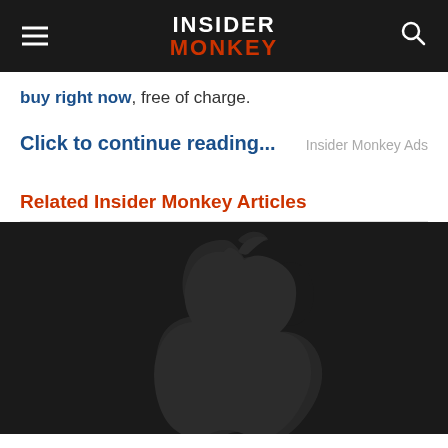INSIDER MONKEY
buy right now, free of charge.
Click to continue...
Insider Monkey Ads
Related Insider Monkey Articles
[Figure (photo): Dark Apple logo silhouette on black background]